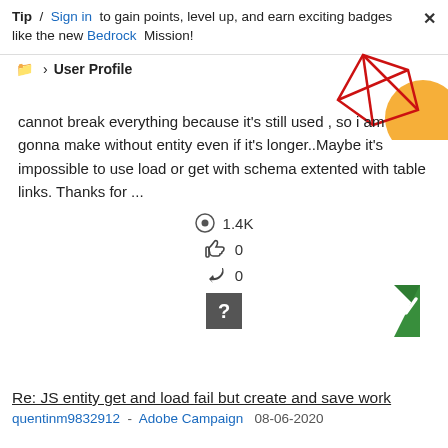Tip / Sign in to gain points, level up, and earn exciting badges like the new Bedrock Mission!
User Profile
[Figure (illustration): Decorative geometric graphic with red diamond/triangle shapes and an orange circle in top-right corner]
cannot break everything because it's still used , so i am gonna make without entity even if it's longer..Maybe it's impossible to use load or get with schema extented with table links. Thanks for ...
1.4K views, 0 likes, 0 replies
[Figure (infographic): Question mark icon button and green accepted answer checkmark badge]
Re: JS entity get and load fail but create and save work
quentinm9832912 - Adobe Campaign  08-06-2020